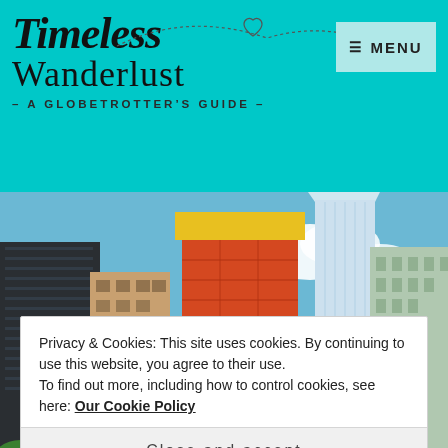[Figure (logo): Timeless Wanderlust logo with tagline 'A Globetrotter's Guide' on teal background, with a Menu button top right]
[Figure (photo): Urban cityscape with skyscrapers under blue sky, including a building under construction with orange scaffolding and One World Trade Center]
Privacy & Cookies: This site uses cookies. By continuing to use this website, you agree to their use.
To find out more, including how to control cookies, see here: Our Cookie Policy
Close and accept